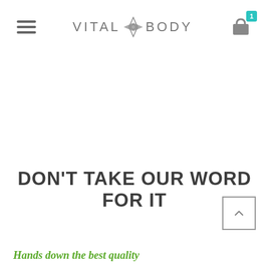VITAL BODY — navigation header with hamburger menu and shopping cart badge showing 1
DON'T TAKE OUR WORD FOR IT
Hands down the best quality